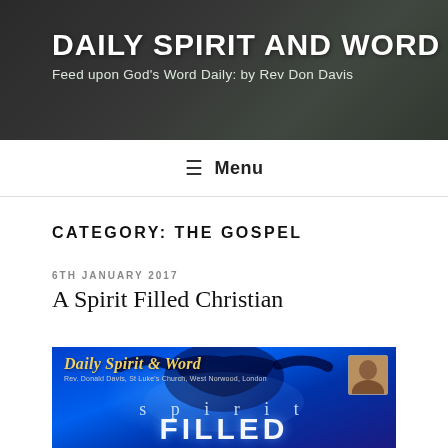DAILY SPIRIT AND WORD
Feed upon God's Word Daily: by Rev Don Davis
Menu
CATEGORY: THE GOSPEL
6TH JANUARY 2017
A Spirit Filled Christian
[Figure (illustration): Blue-toned promotional banner for 'Daily Spirit & Word' showing a silhouetted figure with arms raised against a glowing blue background with the text 'spirit FILLED'. Includes the subtitle 'Rev. Donald Davis, St Luke's Church, West Norwood, London' and a small portrait photo in the top right corner.]